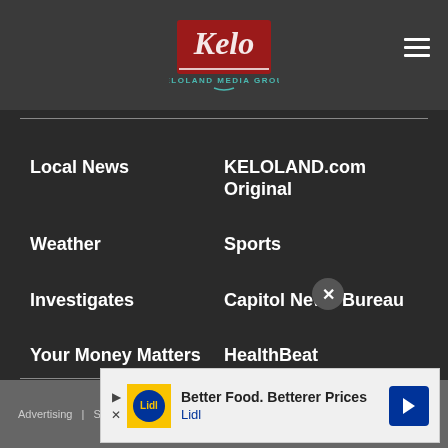[Figure (logo): KELOLAND Media Group logo with red background and cursive Kelo text]
Local News
KELOLAND.com Original
Weather
Sports
Investigates
Capitol News Bureau
Your Money Matters
HealthBeat
NewsNation Now
KELOLAND Living
Advertising  |  Stations
[Figure (screenshot): Lidl advertisement: Better Food. Betterer Prices - Lidl]